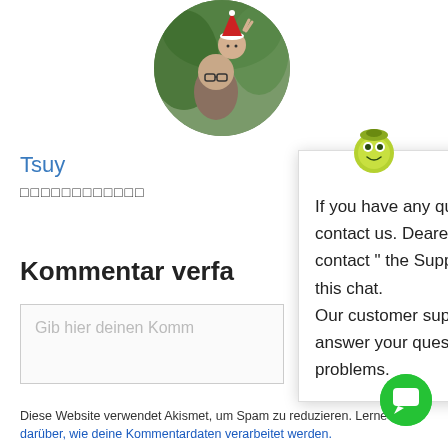[Figure (photo): Circular profile avatar photo showing a person with a child wearing a Santa hat, with green foliage background]
Tsuy...
□□□□□□□□□□□□
[Figure (screenshot): Chat popup widget with frog/lime mascot logo and close button, containing support message text]
Kommentar verfa...
Gib hier deinen Komm...
Diese Website verwendet Akismet, um Spam zu reduzieren. Lerne mehr darüber, wie deine Kommentardaten verarbeitet werden.
[Figure (logo): Green circular chat button with white speech bubble icon]